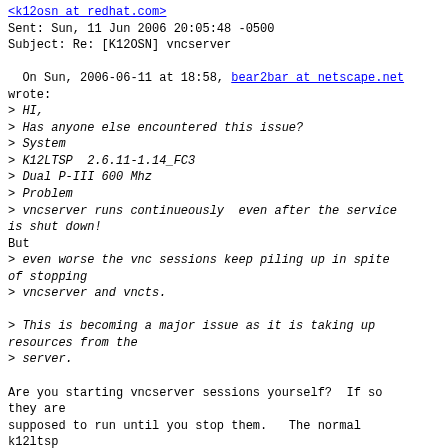<k12osn at redhat.com>
Sent: Sun, 11 Jun 2006 20:05:48 -0500
Subject: Re: [K12OSN] vncserver
On Sun, 2006-06-11 at 18:58, bear2bar at netscape.net wrote:
> HI,
> Has anyone else encountered this issue?
> System
> K12LTSP  2.6.11-1.14_FC3
> Dual P-III 600 Mhz
> Problem
> vncserver runs continueously  even after the service is shut down!
But
> even worse the vnc sessions keep piling up in spite of stopping
> vncserver and vncts.

> This is becoming a major issue as it is taking up resources from the
> server.

Are you starting vncserver sessions yourself?  If so they are
supposed to run until you stop them.   The normal k12ltsp
configuration is to let xinetd start sessions on demand
and those should go away when you disconnect.